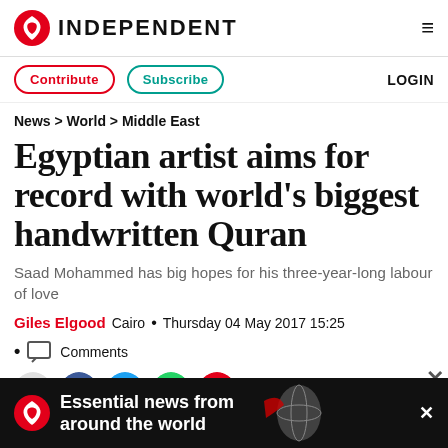INDEPENDENT
Contribute   Subscribe   LOGIN
News > World > Middle East
Egyptian artist aims for record with world's biggest handwritten Quran
Saad Mohammed has big hopes for his three-year-long labour of love
Giles Elgood  Cairo  •  Thursday 04 May 2017 15:25
• Comments
[Figure (other): Advertisement banner: Essential news from around the world, The Independent logo with eagle, globe graphic, close button]